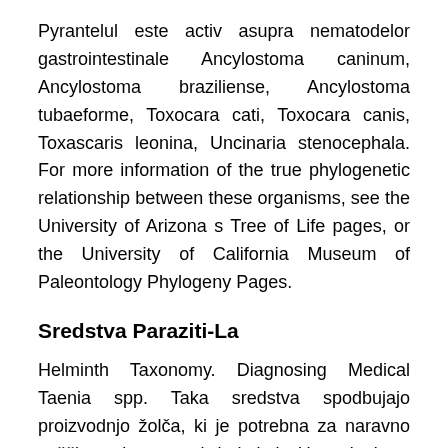Pyrantelul este activ asupra nematodelor gastrointestinale Ancylostoma caninum, Ancylostoma braziliense, Ancylostoma tubaeforme, Toxocara cati, Toxocara canis, Toxascaris leonina, Uncinaria stenocephala. For more information of the true phylogenetic relationship between these organisms, see the University of Arizona s Tree of Life pages, or the University of California Museum of Paleontology Phylogeny Pages.
Sredstva Paraziti-La
Helminth Taxonomy. Diagnosing Medical Taenia spp. Taka sredstva spodbujajo proizvodnjo žolča, ki je potrebna za naravno zaščito telesa pred helminti. Ustvarjeni so pogoji za učinkovito odstranjevanje toksinov iz telesa. Avem oferte cu